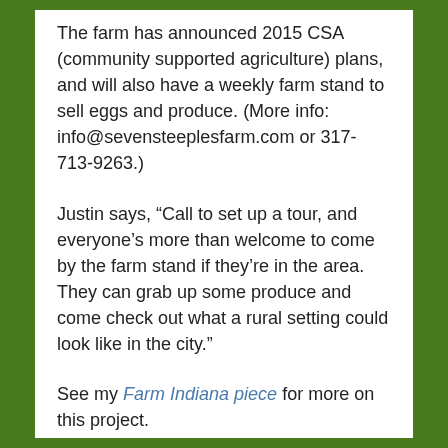The farm has announced 2015 CSA (community supported agriculture) plans, and will also have a weekly farm stand to sell eggs and produce. (More info: info@sevensteeplesfarm.com or 317-713-9263.)
Justin says, “Call to set up a tour, and everyone’s more than welcome to come by the farm stand if they’re in the area. They can grab up some produce and come check out what a rural setting could look like in the city.”
See my Farm Indiana piece for more on this project.